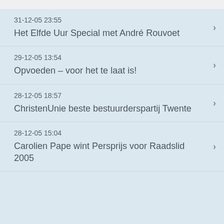31-12-05 23:55
Het Elfde Uur Special met André Rouvoet
29-12-05 13:54
Opvoeden – voor het te laat is!
28-12-05 18:57
ChristenUnie beste bestuurderspartij Twente
28-12-05 15:04
Carolien Pape wint Persprijs voor Raadslid 2005